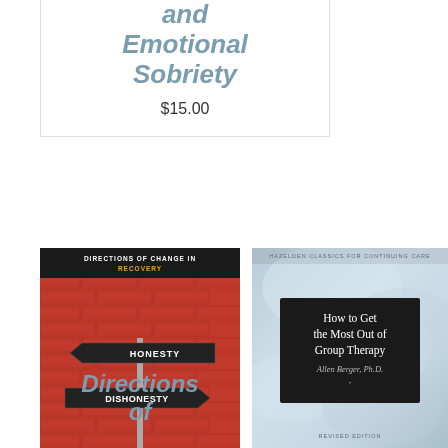and Emotional Sobriety
$15.00
[Figure (photo): Book cover: Directions of Change in Recovery by Allen Berger, Ph.D. — shows directional signs reading HONESTY (left arrow) and DISHONESTY (right arrow) against a red brick wall background.]
Directions of
[Figure (photo): Book cover: How to Get the Most Out of Group Therapy by Allen Berger, Ph.D. — Hazelden Classics for Continuing Care, Revised Edition. Blue-gray textured background with black title box.]